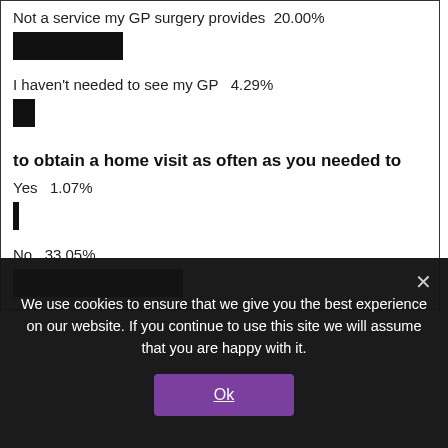Not a service my GP surgery provides  20.00%
[Figure (bar-chart): Black redacted bar representing 20.00%]
I haven't needed to see my GP  4.29%
[Figure (bar-chart): Small black bar representing 4.29%]
to obtain a home visit as often as you needed to
Yes  1.07%
[Figure (bar-chart): Tiny black bar representing 1.07%]
No  33.05%
[Figure (bar-chart): Medium black bar representing 33.05%]
We use cookies to ensure that we give you the best experience on our website. If you continue to use this site we will assume that you are happy with it.